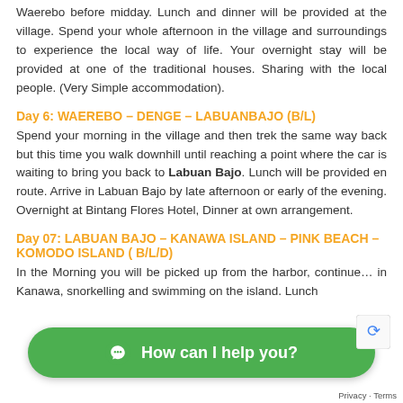Waerebo before midday. Lunch and dinner will be provided at the village. Spend your whole afternoon in the village and surroundings to experience the local way of life. Your overnight stay will be provided at one of the traditional houses. Sharing with the local people. (Very Simple accommodation).
Day 6: WAEREBO – DENGE – LABUANBAJO (B/L)
Spend your morning in the village and then trek the same way back but this time you walk downhill until reaching a point where the car is waiting to bring you back to Labuan Bajo. Lunch will be provided en route. Arrive in Labuan Bajo by late afternoon or early of the evening. Overnight at Bintang Flores Hotel, Dinner at own arrangement.
Day 07: LABUAN BAJO – KANAWA ISLAND  – PINK BEACH – KOMODO ISLAND ( B/L/D)
In the Morning you will be picked up from the harbor, continue... in Kanawa, snorkelling and swimming on the island. Lunch